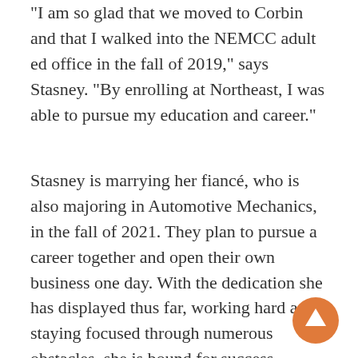“I am so glad that we moved to Corbin and that I walked into the NEMCC adult ed office in the fall of 2019,” says Stasney. “By enrolling at Northeast, I was able to pursue my education and career.”
Stasney is marrying her fiancé, who is also majoring in Automotive Mechanics, in the fall of 2021. They plan to pursue a career together and open their own business one day. With the dedication she has displayed thus far, working hard and staying focused through numerous obstacles, she is bound for success.
[Figure (other): Orange circular button with white upward arrow, used as a scroll-to-top navigation element]